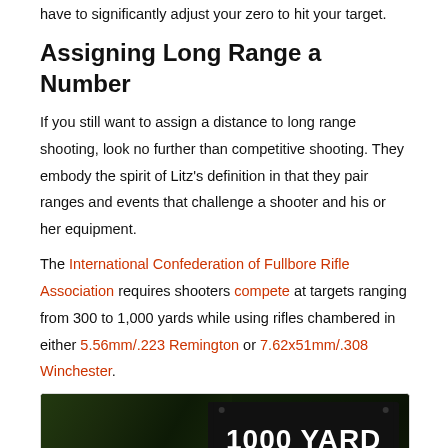have to significantly adjust your zero to hit your target.
Assigning Long Range a Number
If you still want to assign a distance to long range shooting, look no further than competitive shooting. They embody the spirit of Litz's definition in that they pair ranges and events that challenge a shooter and his or her equipment.
The International Confederation of Fullbore Rifle Association requires shooters compete at targets ranging from 300 to 1,000 yards while using rifles chambered in either 5.56mm/.223 Remington or 7.62x51mm/.308 Winchester.
[Figure (photo): A dark outdoor scene with evergreen foliage on the left and a black sign on the right reading '1000 YARD RANGE' in large white bold text.]